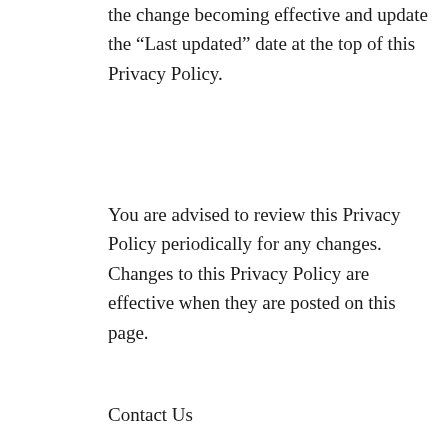the change becoming effective and update the “Last updated” date at the top of this Privacy Policy.
You are advised to review this Privacy Policy periodically for any changes. Changes to this Privacy Policy are effective when they are posted on this page.
Contact Us
If you have any questions about this Privacy Policy, You can contact us:
By email: social@mbcf.comBy mail: 1001 Galaxy Way, Suite 100, Concord, CA 94520